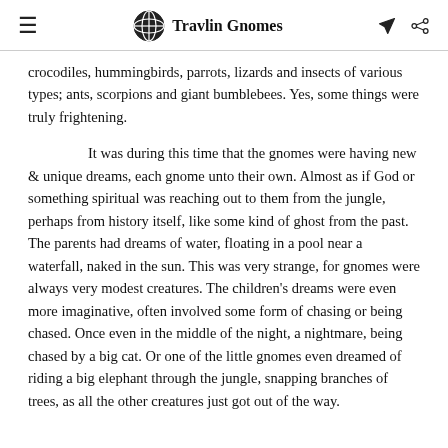Travlin Gnomes
crocodiles, hummingbirds, parrots, lizards and insects of various types; ants, scorpions and giant bumblebees. Yes, some things were truly frightening.
It was during this time that the gnomes were having new & unique dreams, each gnome unto their own. Almost as if God or something spiritual was reaching out to them from the jungle, perhaps from history itself, like some kind of ghost from the past. The parents had dreams of water, floating in a pool near a waterfall, naked in the sun. This was very strange, for gnomes were always very modest creatures. The children's dreams were even more imaginative, often involved some form of chasing or being chased. Once even in the middle of the night, a nightmare, being chased by a big cat. Or one of the little gnomes even dreamed of riding a big elephant through the jungle, snapping branches of trees, as all the other creatures just got out of the way.